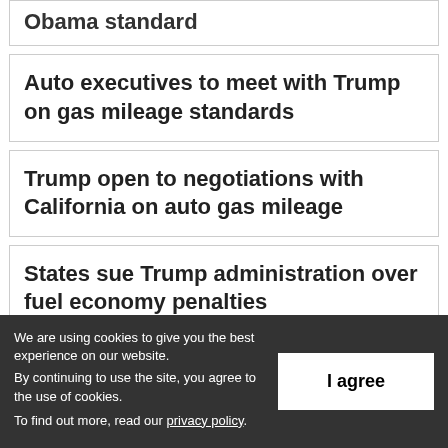Obama standard
Auto executives to meet with Trump on gas mileage standards
Trump open to negotiations with California on auto gas mileage
States sue Trump administration over fuel economy penalties
We are using cookies to give you the best experience on our website.
By continuing to use the site, you agree to the use of cookies.
To find out more, read our privacy policy.